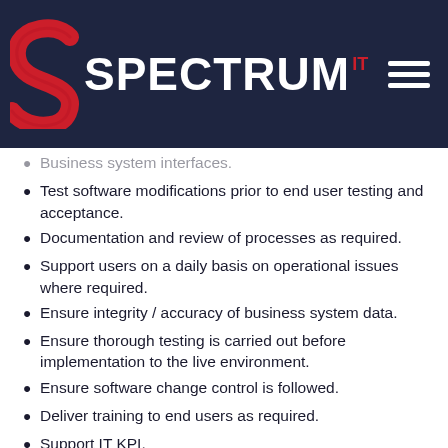[Figure (logo): Spectrum IT logo — red stylized S letter on left, white bold SPECTRUM text with red superscript IT, on dark navy background with hamburger menu icon top right]
Business system interfaces.
Test software modifications prior to end user testing and acceptance.
Documentation and review of processes as required.
Support users on a daily basis on operational issues where required.
Ensure integrity / accuracy of business system data.
Ensure thorough testing is carried out before implementation to the live environment.
Ensure software change control is followed.
Deliver training to end users as required.
Support IT KPI.
Comply with the Health & Safety Policy and observe all the safety rules to ensure your personal safety and the safety of others.